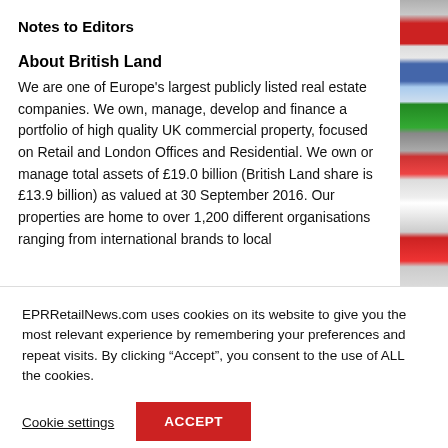Notes to Editors
About British Land
We are one of Europe's largest publicly listed real estate companies. We own, manage, develop and finance a portfolio of high quality UK commercial property, focused on Retail and London Offices and Residential. We own or manage total assets of £19.0 billion (British Land share is £13.9 billion) as valued at 30 September 2016. Our properties are home to over 1,200 different organisations ranging from international brands to local
EPRRetailNews.com uses cookies on its website to give you the most relevant experience by remembering your preferences and repeat visits. By clicking “Accept”, you consent to the use of ALL the cookies.
Cookie settings
ACCEPT